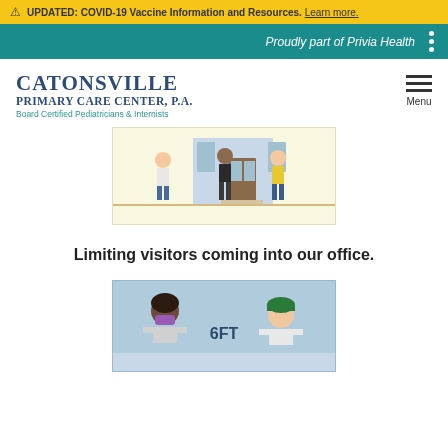⚠ UPDATED: COVID-19 Vaccine Information and Resources. Learn more.
Proudly part of Privia Health
Catonsville Primary Care Center, P.A.
Board Certified Pediatricians & Internists
[Figure (illustration): Cartoon illustration showing people entering an office building, with figures walking toward a door with windows]
Limiting visitors coming into our office.
[Figure (illustration): Cartoon illustration showing social distancing with two characters and a 6FT label between them, on a light blue background]